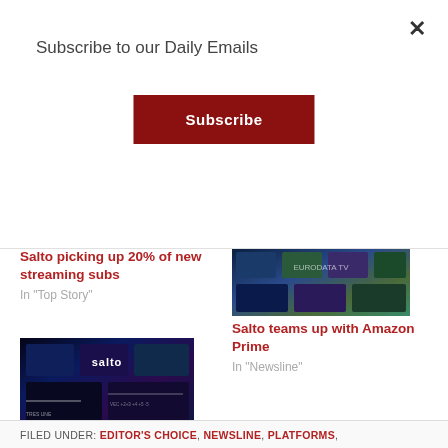Subscribe to our Daily Emails
Subscribe
Salto picking up 20% of new streaming subs
In "Top Story"
[Figure (photo): Salto streaming service thumbnail image]
Salto teams up with Amazon Prime
In "Newsline"
[Figure (photo): Salto app interface showing content grid with salto logo]
Salto gains 100,000 users in three weeks
In "Streaming"
FILED UNDER: EDITOR'S CHOICE, NEWSLINE, PLATFORMS,